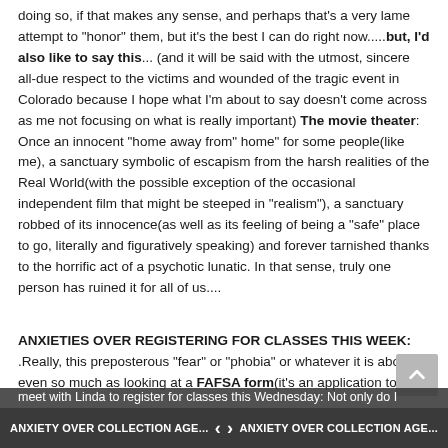doing so, if that makes any sense, and perhaps that's a very lame attempt to "honor" them, but it's the best I can do right now.....but, I'd also like to say this... (and it will be said with the utmost, sincere all-due respect to the victims and wounded of the tragic event in Colorado because I hope what I'm about to say doesn't come across as me not focusing on what is really important) The movie theater: Once an innocent "home away from" home" for some people(like me), a sanctuary symbolic of escapism from the harsh realities of the Real World(with the possible exception of the occasional independent film that might be steeped in "realism"), a sanctuary robbed of its innocence(as well as its feeling of being a "safe" place to go, literally and figuratively speaking) and forever tarnished thanks to the horrific act of a psychotic lunatic. In that sense, truly one person has ruined it for all of us....
ANXIETIES OVER REGISTERING FOR CLASSES THIS WEEK:
.Really, this preposterous "fear" or "phobia" or whatever it is about even so much as looking at a FAFSA form(it's an application to get financial assistance for school) based on hazy memories of it being confusing and frustrating to fill out when I first tried to do so a few years ago, well, it's got to stop, and SOON might I add because I'm supposed to meet with Linda to register for classes this Wednesday: Not only do I
ANXIETY OVER COLLECTION AGE...   <  >   ANXIETY OVER COLLECTION AGE...